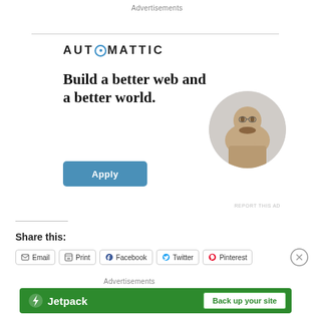Advertisements
[Figure (illustration): Automattic company advertisement with logo, headline 'Build a better web and a better world.', Apply button, and circular photo of a man thinking at a desk.]
REPORT THIS AD
Share this:
Email
Print
Facebook
Twitter
Pinterest
Advertisements
[Figure (illustration): Jetpack banner advertisement: green background with Jetpack logo and 'Back up your site' call-to-action button.]